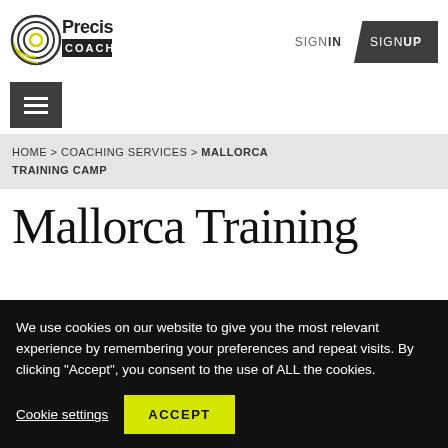[Figure (logo): Precision Coaching logo with circular target icon and text]
SIGN IN  SIGN UP
[Figure (other): Hamburger menu button]
HOME > COACHING SERVICES > MALLORCA TRAINING CAMP
Mallorca Training
We use cookies on our website to give you the most relevant experience by remembering your preferences and repeat visits. By clicking "Accept", you consent to the use of ALL the cookies.
Cookie settings   ACCEPT